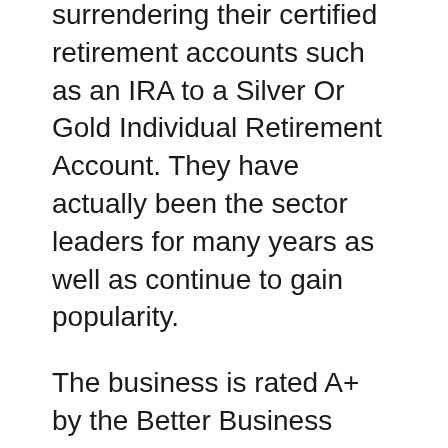surrendering their certified retirement accounts such as an IRA to a Silver Or Gold Individual Retirement Account. They have actually been the sector leaders for many years as well as continue to gain popularity.
The business is rated A+ by the Better Business Bureau, has an excellent Osceola Gold IRA Investment review and also delights in a Triple-A score from Organization Customer Alliance. These scores are based on quality in honest business techniques, consumer testimonials, dependability, as well as customer support.
If you are seeking to acquire rare-earth elements such as coins or bullions, their skilled group takes you through each action